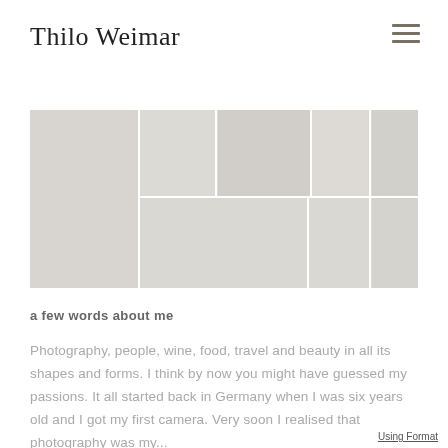Thilo Weimar
[Figure (photo): A collage of multiple photos showing people at social events, outdoor settings, and portraits — appears to be lifestyle/photography portfolio images by Thilo Weimar]
a few words about me
Photography, people, wine, food, travel and beauty in all its shapes and forms. I think by now you might have guessed my passions. It all started back in Germany when I was six years old and I got my first camera. Very soon I realised that photography was my...
Using Format